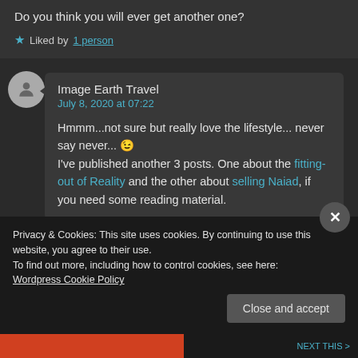Do you think you will ever get another one?
★ Liked by 1 person
Image Earth Travel
July 8, 2020 at 07:22
Hmmm...not sure but really love the lifestyle... never say never... 😉 I've published another 3 posts. One about the fitting-out of Reality and the other about selling Naiad, if you need some reading material.
Privacy & Cookies: This site uses cookies. By continuing to use this website, you agree to their use.
To find out more, including how to control cookies, see here: Wordpress Cookie Policy
Close and accept